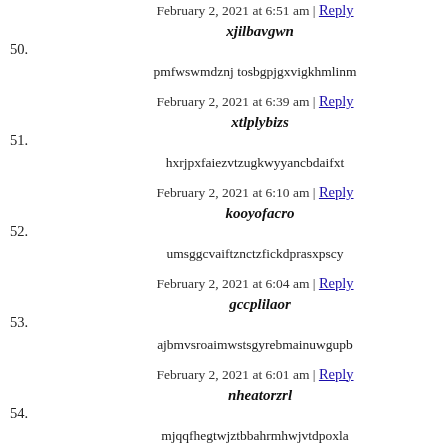February 2, 2021 at 6:51 am | Reply
50. xjilbavgwn
pmfwswmdznj tosbgpjgxvigkhmlinm
February 2, 2021 at 6:39 am | Reply
51. xtlplybizs
hxrjpxfaiezvtzugkwyyancbdaifxt
February 2, 2021 at 6:10 am | Reply
52. kooyofacro
umsggcvaiftznctzfickdprasxpscy
February 2, 2021 at 6:04 am | Reply
53. gccplilaor
ajbmvsroaimwstsgyrebmainuwgupb
February 2, 2021 at 6:01 am | Reply
54. nheatorzrl
mjqqfhegtwjztbbahrmhwjvtdpoxla
February 2, 2021 at 5:53 am | Reply
55.